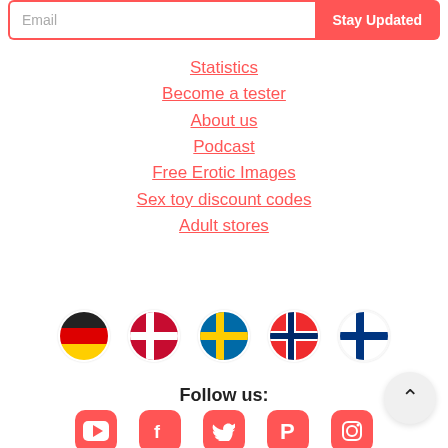Email
Stay Updated
Statistics
Become a tester
About us
Podcast
Free Erotic Images
Sex toy discount codes
Adult stores
[Figure (illustration): Row of 5 circular country flag icons: Germany, Denmark, Sweden, Norway, Finland]
Follow us:
[Figure (illustration): Row of 5 social media icons: YouTube, Facebook, Twitter, Pinterest, Instagram — all in red/coral color]